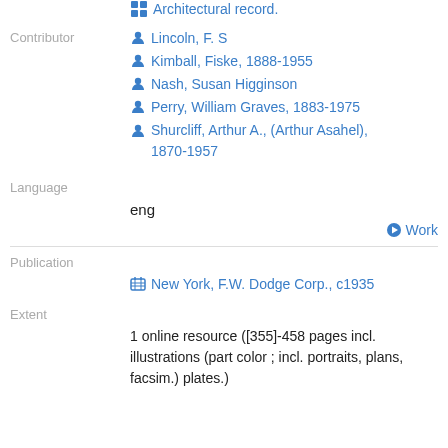Architectural record.
Contributor
Lincoln, F. S
Kimball, Fiske, 1888-1955
Nash, Susan Higginson
Perry, William Graves, 1883-1975
Shurcliff, Arthur A., (Arthur Asahel), 1870-1957
Language
eng
Work
Publication
New York, F.W. Dodge Corp., c1935
Extent
1 online resource ([355]-458 pages incl. illustrations (part color ; incl. portraits, plans, facsim.) plates.)